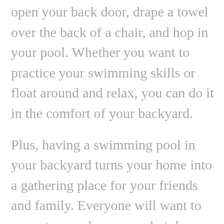open your back door, drape a towel over the back of a chair, and hop in your pool. Whether you want to practice your swimming skills or float around and relax, you can do it in the comfort of your backyard.
Plus, having a swimming pool in your backyard turns your home into a gathering place for your friends and family. Everyone will want to come to your home on a hot day, allowing you to form greater relationships with the people close to you. Also, nothing beats the fun you can have by playing pool games. You can always be the place for parties during the summer since a pool party